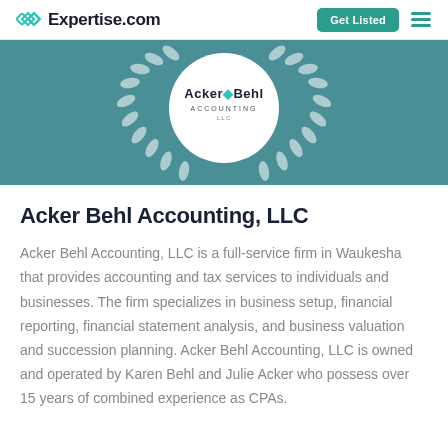Expertise.com | Get Listed
[Figure (logo): Acker Behl Accounting LLC badge/logo inside a laurel wreath on a teal background]
Acker Behl Accounting, LLC
Acker Behl Accounting, LLC is a full-service firm in Waukesha that provides accounting and tax services to individuals and businesses. The firm specializes in business setup, financial reporting, financial statement analysis, and business valuation and succession planning. Acker Behl Accounting, LLC is owned and operated by Karen Behl and Julie Acker who possess over 15 years of combined experience as CPAs.